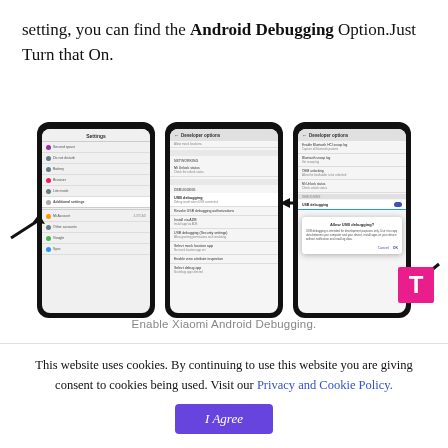setting, you can find the Android Debugging Option.Just Turn that On.
[Figure (screenshot): Three smartphone screenshots showing steps to enable Android USB Debugging on Xiaomi device: Settings menu with Additional settings highlighted, Developer options with USB debugging option and arrow, and Allow USB debugging dialog with arrow.]
Enable Xiaomi Android Debugging.
This website uses cookies. By continuing to use this website you are giving consent to cookies being used. Visit our Privacy and Cookie Policy.